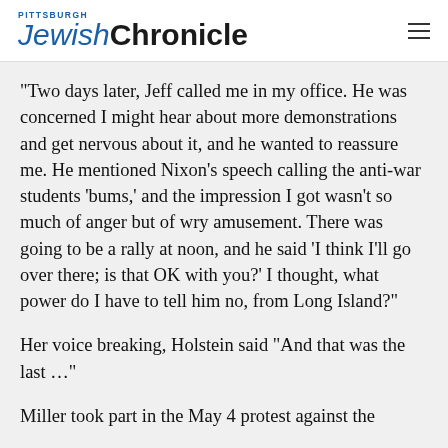Pittsburgh Jewish Chronicle
“Two days later, Jeff called me in my office. He was concerned I might hear about more demonstrations and get nervous about it, and he wanted to reassure me. He mentioned Nixon’s speech calling the anti-war students ‘bums,’ and the impression I got wasn’t so much of anger but of wry amusement. There was going to be a rally at noon, and he said ‘I think I’ll go over there; is that OK with you?’ I thought, what power do I have to tell him no, from Long Island?”
Her voice breaking, Holstein said “And that was the last …”
Miller took part in the May 4 protest against the